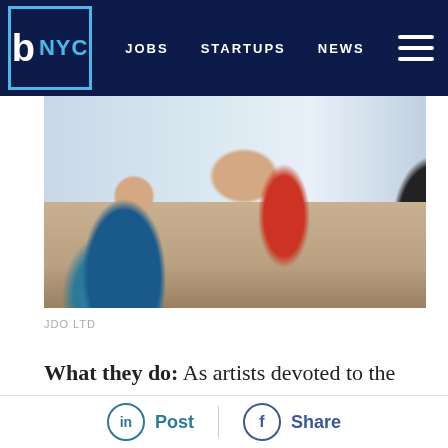b NYC  JOBS  STARTUPS  NEWS
[Figure (photo): People working at a desk with laptops and monitors in an office/studio setting]
JDO LTD
What they do: As artists devoted to the details, JDO Ltd are experts in a variety of design offering for their clients. Operating primarily in the beverage space, branded packaging, brand identity, 3D and product
Post  Share